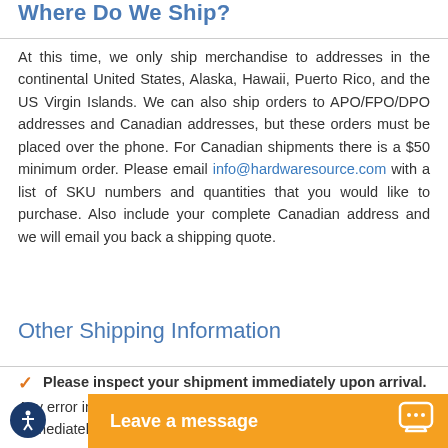Where Do We Ship?
At this time, we only ship merchandise to addresses in the continental United States, Alaska, Hawaii, Puerto Rico, and the US Virgin Islands. We can also ship orders to APO/FPO/DPO addresses and Canadian addresses, but these orders must be placed over the phone. For Canadian shipments there is a $50 minimum order. Please email info@hardwaresource.com with a list of SKU numbers and quantities that you would like to purchase. Also include your complete Canadian address and we will email you back a shipping quote.
Other Shipping Information
Please inspect your shipment immediately upon arrival. Any error in you... immediately (within 48